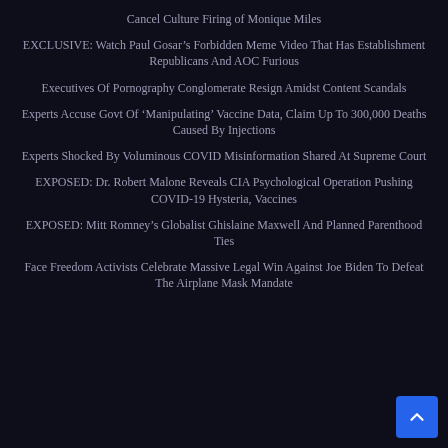Cancel Culture Firing of Monique Miles
EXCLUSIVE: Watch Paul Gosar’s Forbidden Meme Video That Has Establishment Republicans And AOC Furious
Executives Of Pornography Conglomerate Resign Amidst Content Scandals
Experts Accuse Govt Of ‘Manipulating’ Vaccine Data, Claim Up To 300,000 Deaths Caused By Injections
Experts Shocked By Voluminous COVID Misinformation Shared At Supreme Court
EXPOSED: Dr. Robert Malone Reveals CIA Psychological Operation Pushing COVID-19 Hysteria, Vaccines
EXPOSED: Mitt Romney’s Globalist Ghislaine Maxwell And Planned Parenthood Ties
Face Freedom Activists Celebrate Massive Legal Win Against Joe Biden To Defeat The Airplane Mask Mandate